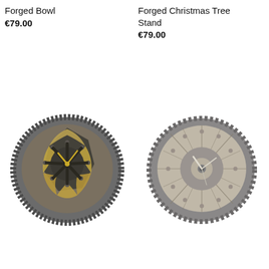Forged Bowl
€79.00
Forged Christmas Tree Stand
€79.00
[Figure (photo): A round forged metal bowl with a star/flower pattern in the center, gold-colored hammer-textured sections, dark iron frame, and clock hands in the center. Viewed from above.]
[Figure (photo): A round forged metal object (Christmas tree stand) with a web/crackle pattern, concentric circles in the center with clock hands, dark metallic rim, and light-colored interior sections. Viewed from above.]